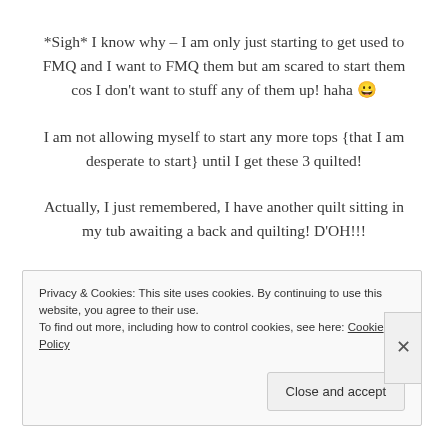*Sigh* I know why – I am only just starting to get used to FMQ and I want to FMQ them but am scared to start them cos I don't want to stuff any of them up! haha 😀
I am not allowing myself to start any more tops {that I am desperate to start} until I get these 3 quilted!
Actually, I just remembered, I have another quilt sitting in my tub awaiting a back and quilting! D'OH!!!
Privacy & Cookies: This site uses cookies. By continuing to use this website, you agree to their use. To find out more, including how to control cookies, see here: Cookie Policy
Close and accept